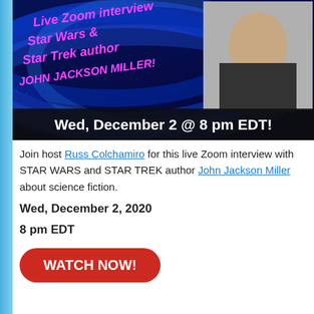[Figure (photo): Dark blue swirl background promotional banner for a Live Zoom interview with Star Wars and Star Trek author John Jackson Miller. Pink italic text reads 'Live Zoom interview Star Wars & Star Trek author JOHN JACKSON MILLER!' on the left. A photo of a man (John Jackson Miller) appears in the upper right. Bottom bar reads 'Wed, December 2 @ 8 pm EDT!' in bold white text.]
Join host Russ Colchamiro for this live Zoom interview with STAR WARS and STAR TREK author John Jackson Miller about science fiction.
Wed, December 2, 2020
8 pm EDT
WATCH NOW!